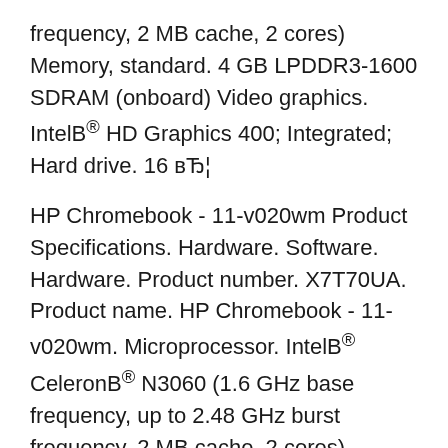frequency, 2 MB cache, 2 cores) Memory, standard. 4 GB LPDDR3-1600 SDRAM (onboard) Video graphics. IntelB® HD Graphics 400; Integrated; Hard drive. 16 вЂ¦
HP Chromebook - 11-v020wm Product Specifications. Hardware. Software. Hardware. Product number. X7T70UA. Product name. HP Chromebook - 11-v020wm. Microprocessor. IntelB® CeleronB® N3060 (1.6 GHz base frequency, up to 2.48 GHz burst frequency, 2 MB cache, 2 cores) Memory, standard. 4 GB LPDDR3-1600 SDRAM (onboard) Video graphics. IntelB® HD Graphics 400; Integrated; Hard drive. 16 вЂ¦ 22/04/2019В В· HP 11-V025WM Chromebook Power cord User instructions CertIfeD Refurbished laptop based on content at...